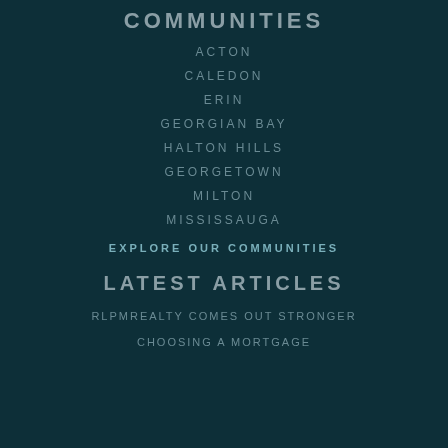COMMUNITIES
ACTON
CALEDON
ERIN
GEORGIAN BAY
HALTON HILLS
GEORGETOWN
MILTON
MISSISSAUGA
EXPLORE OUR COMMUNITIES
LATEST ARTICLES
RLPMREALTY COMES OUT STRONGER
CHOOSING A MORTGAGE